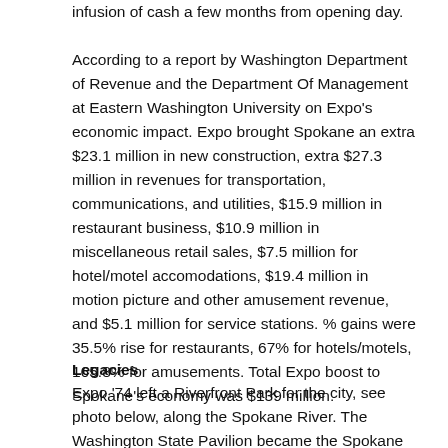infusion of cash a few months from opening day.
According to a report by Washington Department of Revenue and the Department Of Management at Eastern Washington University on Expo's economic impact. Expo brought Spokane an extra $23.1 million in new construction, extra $27.3 million in revenues for transportation, communications, and utilities, $15.9 million in restaurant business, $10.9 million in miscellaneous retail sales, $7.5 million for hotel/motel accomodations, $19.4 million in motion picture and other amusement revenue, and $5.1 million for service stations. % gains were 35.5% rise for restaurants, 67% for hotels/motels, 165.8% for amusements. Total Expo boost to Spokane's economy was $139 million.
Legacies
Expo '74 left a Riverfront Park for the city, see photo below, along the Spokane River. The Washington State Pavilion became the Spokane Opera House and